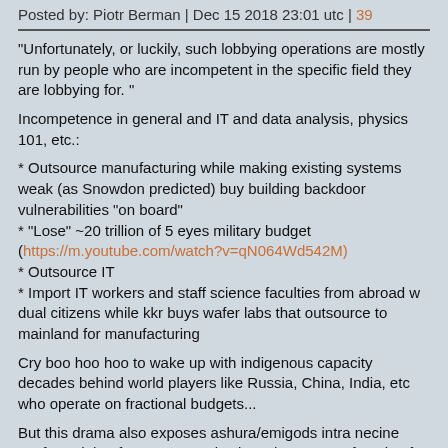Posted by: Piotr Berman | Dec 15 2018 23:01 utc | 39
“Unfortunately, or luckily, such lobbying operations are mostly run by people who are incompetent in the specific field they are lobbying for. ”
Incompetence in general and IT and data analysis, physics 101, etc.:
* Outsource manufacturing while making existing systems weak (as Snowdon predicted) buy building backdoor vulnerabilities “on board”
* “Lose” ~20 trillion of 5 eyes military budget (https://m.youtube.com/watch?v=qN064Wd542M)
* Outsource IT
* Import IT workers and staff science faculties from abroad w dual citizens while kkr buys wafer labs that outsource to mainland for manufacturing
Cry boo hoo hoo to wake up with indigenous capacity decades behind world players like Russia, China, India, etc who operate on fractional budgets...
But this drama also exposes ashura/emigods intra necine warfare: right after 2016 US elections there was a facade of split between military and intelligence differentiation. Seems